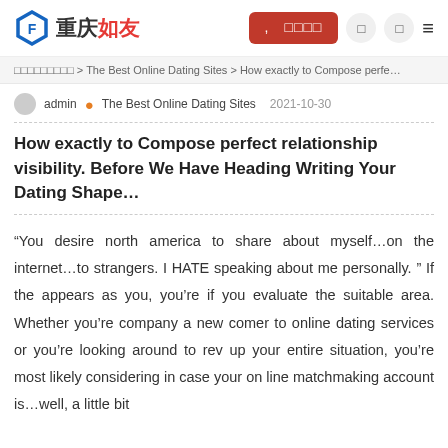重庆如友 [search button] [icons] [menu]
□□□□□□□□□ > The Best Online Dating Sites > How exactly to Compose perfe...
admin • The Best Online Dating Sites   2021-10-30
How exactly to Compose perfect relationship visibility. Before We Have Heading Writing Your Dating Shape...
“You desire north america to share about myself…on the internet…to strangers. I HATE speaking about me personally. ” If the appears as you, you’re if you evaluate the suitable area. Whether you’re company a new comer to online dating services or you’re looking around to rev up your entire situation, you’re most likely considering in case your on line matchmaking account is…well, a little bit